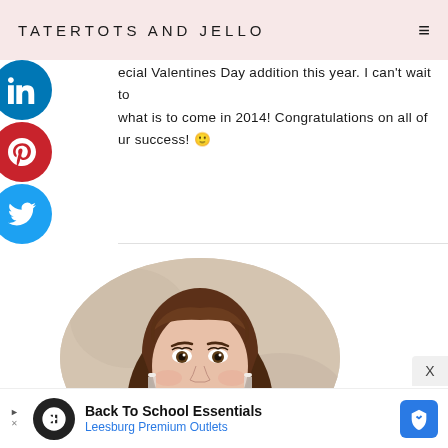TATERTOTS AND JELLO
ecial Valentines Day addition this year. I can't wait to what is to come in 2014! Congratulations on all of ur success! 🙂
[Figure (photo): Circular cropped portrait photo of a smiling woman with brown wavy hair and white tassel earrings]
Back To School Essentials Leesburg Premium Outlets